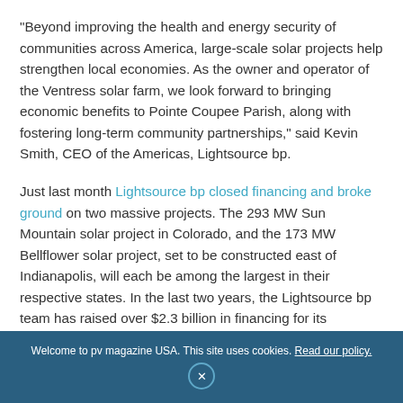“Beyond improving the health and energy security of communities across America, large-scale solar projects help strengthen local economies. As the owner and operator of the Ventress solar farm, we look forward to bringing economic benefits to Pointe Coupee Parish, along with fostering long-term community partnerships,” said Kevin Smith, CEO of the Americas, Lightsource bp.
Just last month Lightsource bp closed financing and broke ground on two massive projects. The 293 MW Sun Mountain solar project in Colorado, and the 173 MW Bellflower solar project, set to be constructed east of Indianapolis, will each be among the largest in their respective states. In the last two years, the Lightsource bp team has raised over $2.3 billion in financing for its
Welcome to pv magazine USA. This site uses cookies. Read our policy.